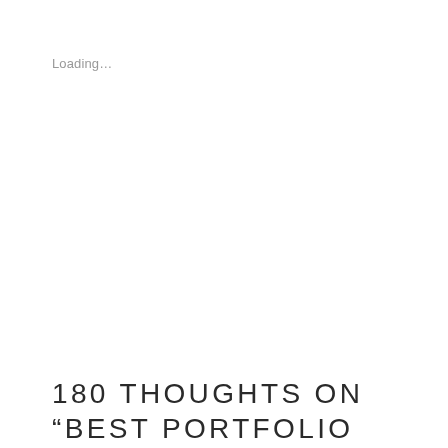Loading...
180 THOUGHTS ON “BEST PORTFOLIO MANAGEMENT SCHEMES IN INDIA”
← Older Comments
VIKAS RANA   December 23, 2017 at 12:05 pm